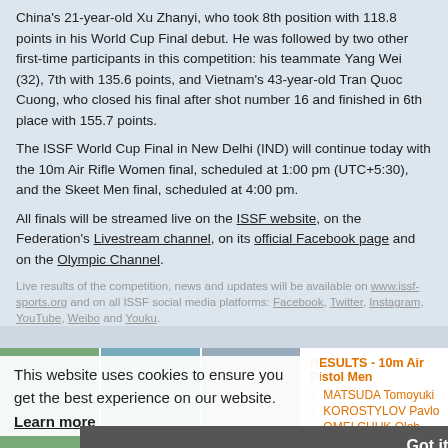China's 21-year-old Xu Zhanyi, who took 8th position with 118.8 points in his World Cup Final debut. He was followed by two other first-time participants in this competition: his teammate Yang Wei (32), 7th with 135.6 points, and Vietnam's 43-year-old Tran Quoc Cuong, who closed his final after shot number 16 and finished in 6th place with 155.7 points.
The ISSF World Cup Final in New Delhi (IND) will continue today with the 10m Air Rifle Women final, scheduled at 1:00 pm (UTC+5:30), and the Skeet Men final, scheduled at 4:00 pm.
All finals will be streamed live on the ISSF website, on the Federation's Livestream channel, on its official Facebook page and on the Olympic Channel.
Live results of the competition, news and updates will be available on www.issf-sports.org and on all ISSF social media platforms: Facebook, Twitter, Instagram, YouTube, Weibo and Youku.
[Figure (photo): Cookie consent overlay over page content showing cookie notice and Got it button]
This website uses cookies to ensure you get the best experience on our website.
Learn more
Got it!
RESULTS - 10m Air Pistol Men
1. MATSUDA Tomoyuki
2. KOROSTYLOV Pavlo
3. OMELCHUK Oleh
26.10.2017
VIDEO - Final 10m Air Pistol Men
26.10.2017